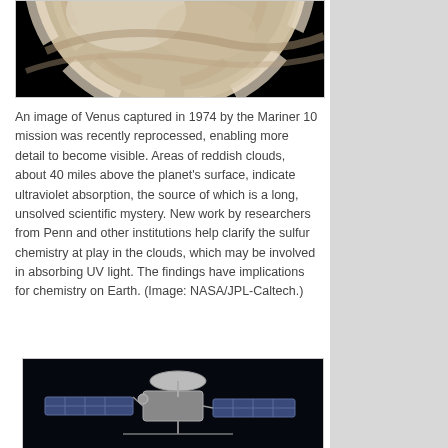[Figure (photo): Partial view of Venus planet showing cream and brownish cloud swirls against a black background, captured by Mariner 10 in 1974.]
An image of Venus captured in 1974 by the Mariner 10 mission was recently reprocessed, enabling more detail to become visible. Areas of reddish clouds, about 40 miles above the planet's surface, indicate ultraviolet absorption, the source of which is a long, unsolved scientific mystery. New work by researchers from Penn and other institutions help clarify the sulfur chemistry at play in the clouds, which may be involved in absorbing UV light. The findings have implications for chemistry on Earth. (Image: NASA/JPL-Caltech.)
[Figure (photo): Mariner 10 spacecraft against a black background, showing its large dish antenna and solar panels.]